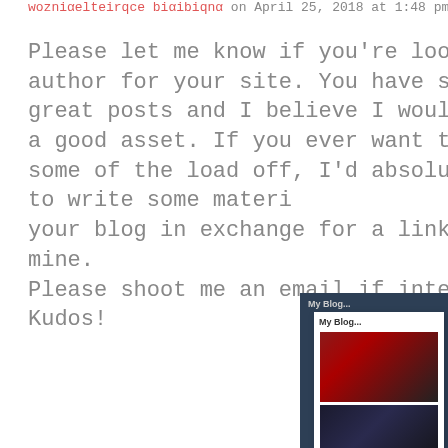wozniαelteirqce biαibiqnα on April 25, 2018 at 1:48 pm
Please let me know if you're looking for a author for your site. You have some really great posts and I believe I would be a good asset. If you ever want to take some of the load off, I'd absolutely love to write some material for your blog in exchange for a link back to mine. Please shoot me an email if interested. Kudos!
« 1 … 71 72 73 74
[Figure (screenshot): Dark blue sidebar panel showing 'My Blog' title with three book cover thumbnails and 'Scy' text at the bottom, with a white card overlay]